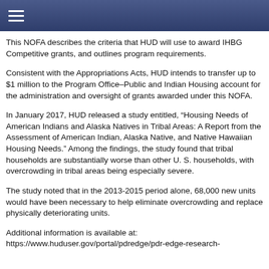This NOFA describes the criteria that HUD will use to award IHBG Competitive grants, and outlines program requirements.
Consistent with the Appropriations Acts, HUD intends to transfer up to $1 million to the Program Office–Public and Indian Housing account for the administration and oversight of grants awarded under this NOFA.
In January 2017, HUD released a study entitled, “Housing Needs of American Indians and Alaska Natives in Tribal Areas: A Report from the Assessment of American Indian, Alaska Native, and Native Hawaiian Housing Needs.” Among the findings, the study found that tribal households are substantially worse than other U. S. households, with overcrowding in tribal areas being especially severe.
The study noted that in the 2013-2015 period alone, 68,000 new units would have been necessary to help eliminate overcrowding and replace physically deteriorating units.
Additional information is available at: https://www.huduser.gov/portal/pdredge/pdr-edge-research-